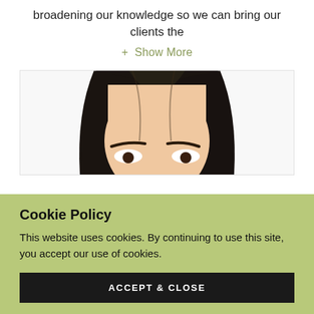broadening our knowledge so we can bring our clients the
+ Show More
[Figure (photo): Cropped portrait photo showing the upper portion of a person's face with dark hair, visible from the eyebrow up, against a white background.]
Cookie Policy
This website uses cookies. By continuing to use this site, you accept our use of cookies.
ACCEPT & CLOSE